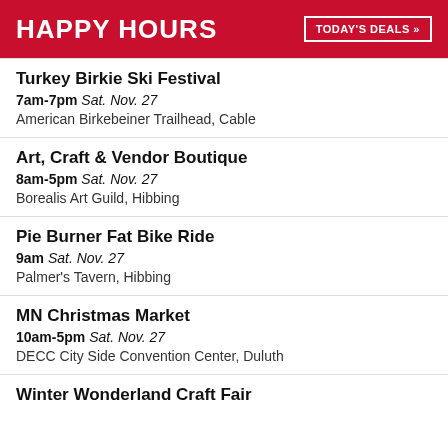[Figure (infographic): Red banner advertisement reading HAPPY HOURS with a TODAY'S DEALS button on the right]
Turkey Birkie Ski Festival | 7am-7pm Sat. Nov. 27 | American Birkebeiner Trailhead, Cable
Art, Craft & Vendor Boutique | 8am-5pm Sat. Nov. 27 | Borealis Art Guild, Hibbing
Pie Burner Fat Bike Ride | 9am Sat. Nov. 27 | Palmer's Tavern, Hibbing
MN Christmas Market | 10am-5pm Sat. Nov. 27 | DECC City Side Convention Center, Duluth
Winter Wonderland Craft Fair